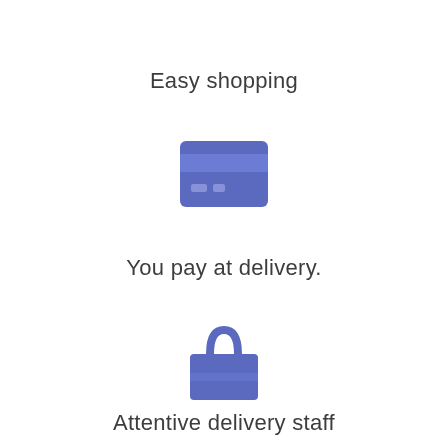Easy shopping
[Figure (illustration): Credit card icon in blue/indigo color]
You pay at delivery.
[Figure (illustration): Shopping bag icon in blue/indigo color]
Attentive delivery staff